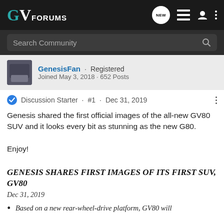GV FORUMS
Search Community
GenesisFan · Registered
Joined May 3, 2018 · 652 Posts
Discussion Starter · #1 · Dec 31, 2019
Genesis shared the first official images of the all-new GV80 SUV and it looks every bit as stunning as the new G80.

Enjoy!
GENESIS SHARES FIRST IMAGES OF ITS FIRST SUV, GV80
Dec 31, 2019
Based on a new rear-wheel-drive platform, GV80 will